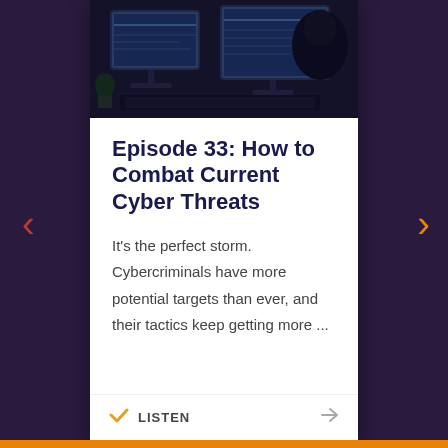[Figure (photo): Dark moody photo of a hooded person sitting at computer monitors, suggesting hacking or cybercrime]
Episode 33: How to Combat Current Cyber Threats
It's the perfect storm. Cybercriminals have more potential targets than ever, and their tactics keep getting more ...
LISTEN